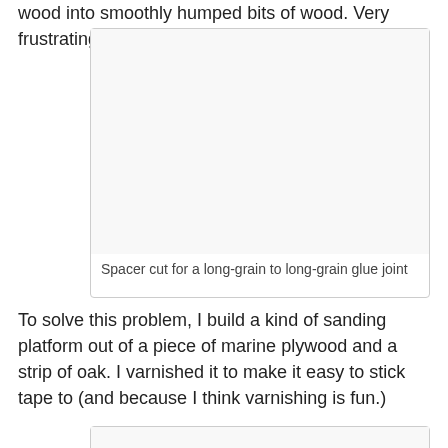wood into smoothly humped bits of wood. Very frustrating.
[Figure (photo): A white/blank image area representing a spacer cut for a long-grain to long-grain glue joint]
Spacer cut for a long-grain to long-grain glue joint
To solve this problem, I build a kind of sanding platform out of a piece of marine plywood and a strip of oak. I varnished it to make it easy to stick tape to (and because I think varnishing is fun.)
[Figure (photo): A white/blank image area at the bottom of the page]